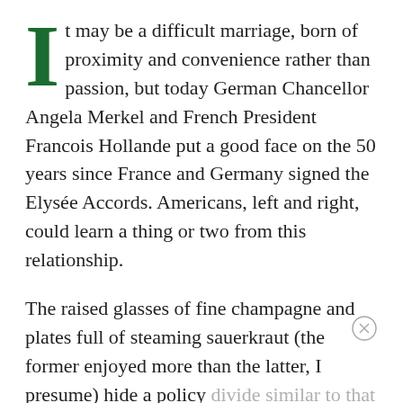It may be a difficult marriage, born of proximity and convenience rather than passion, but today German Chancellor Angela Merkel and French President Francois Hollande put a good face on the 50 years since France and Germany signed the Elysée Accords. Americans, left and right, could learn a thing or two from this relationship.

The raised glasses of fine champagne and plates full of steaming sauerkraut (the former enjoyed more than the latter, I presume) hide a policy divide similar to that seen between Democrats and Republicans. That is, whether Europe's grievous